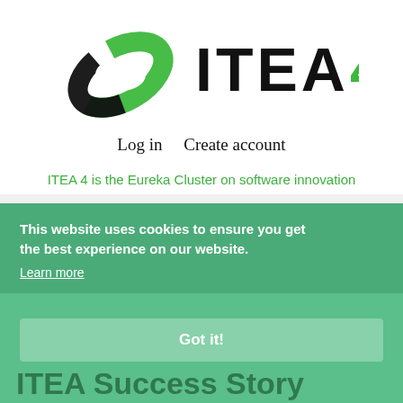[Figure (logo): ITEA 4 logo with a green and black swirl/infinity icon and bold text ITEA with a green number 4]
Log in   Create account
ITEA 4 is the Eureka Cluster on software innovation
[Figure (screenshot): Cookie consent overlay on a green background showing hamburger menu button, breadcrumb nav (Projects / Success stories / H4H Success story), and ITEA Success Story heading]
This website uses cookies to ensure you get the best experience on our website.
Learn more
Got it!
ITEA Success Story